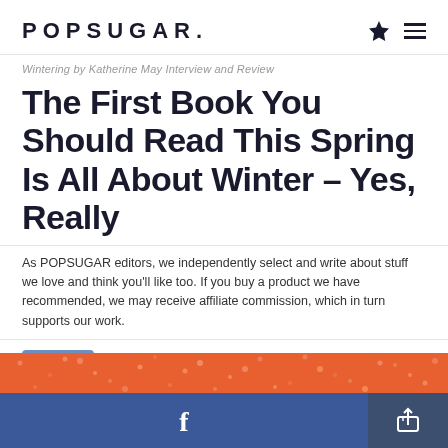POPSUGAR.
Wintering by Katherine May Interview and Review
The First Book You Should Read This Spring Is All About Winter – Yes, Really
As POPSUGAR editors, we independently select and write about stuff we love and think you'll like too. If you buy a product we have recommended, we may receive affiliate commission, which in turn supports our work.
April 16, 2021 by LISA PETERSON
[Figure (photo): Author photo of Lisa Peterson, a young woman with dark hair wearing a striped shirt, against a blue background]
[Figure (photo): Orange decorative banner with dot pattern]
[Figure (screenshot): Facebook share button (blue) and share/export button (dark blue)]